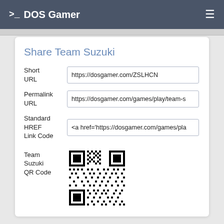>_ DOS Gamer ≡
Share Team Suzuki
Short URL: https://dosgamer.com/ZSLHCN
Permalink URL: https://dosgamer.com/games/play/team-s
Standard HREF Link Code: <a href='https://dosgamer.com/games/pla
[Figure (other): QR code for Team Suzuki]
Team Suzuki QR Code